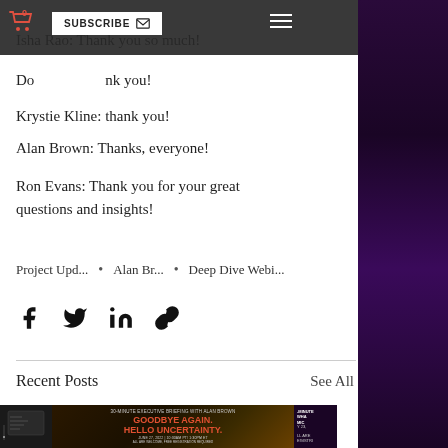Isha Rao: Thank you so much!
Donna: thank you!
Krystie Kline: thank you!
Alan Brown: Thanks, everyone!
Ron Evans: Thank you for your great questions and insights!
Project Upd...  •  Alan Br...  •  Deep Dive Webi...
[Figure (other): Social share icons: Facebook, Twitter, LinkedIn, Link]
Recent Posts
See All
[Figure (other): 30-MINUTE EXECUTIVE BRIEFING WITH ALAN BROWN - GOODBYE AGAIN. HELLO UNCERTAINTY. June 27, 2022 | 10:30AM PT/ 1:30PM ET ALL ARE WELCOME, FREE REGISTRATION REQUIRED]
[Figure (other): Partial view of another post card on the right]